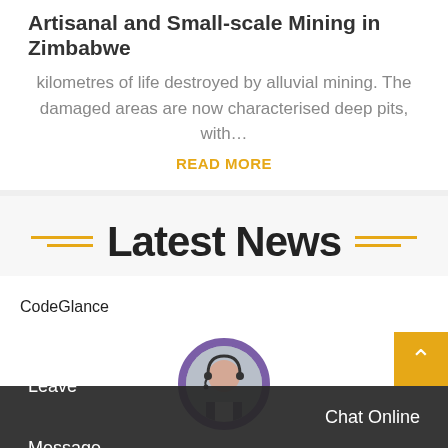Artisanal and Small-scale Mining in Zimbabwe
kilometres of life destroyed by alluvial mining. The damaged areas are now characterised deep pits, with…
READ MORE
Latest News
CodeGlance
[Figure (photo): Customer service representative avatar with headset, circular cropped photo with purple border]
Leave Message
Chat Online